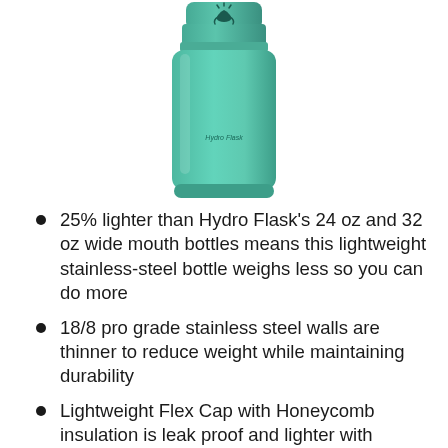[Figure (photo): A teal/mint colored Hydro Flask insulated water bottle shown vertically, with the Hydro Flask logo visible on the body and the brand's hand/sun icon on the cap.]
25% lighter than Hydro Flask's 24 oz and 32 oz wide mouth bottles means this lightweight stainless-steel bottle weighs less so you can do more
18/8 pro grade stainless steel walls are thinner to reduce weight while maintaining durability
Lightweight Flex Cap with Honeycomb insulation is leak proof and lighter with